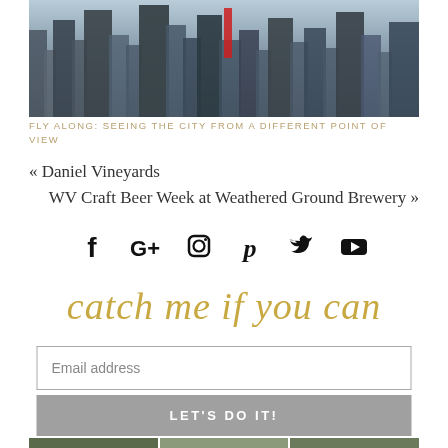[Figure (photo): Aerial city skyline photo from above, tall buildings visible]
FLY ALONG: SEEING THE CITY FROM A DIFFERENT POINT OF VIEW
« Daniel Vineyards
WV Craft Beer Week at Weathered Ground Brewery »
[Figure (other): Social media icons row: Facebook, Google+, Instagram, Pinterest, Twitter, YouTube]
catch me if you can
Email address
LET'S DO IT!
[Figure (photo): Row of thumbnail photos at the bottom of the page]